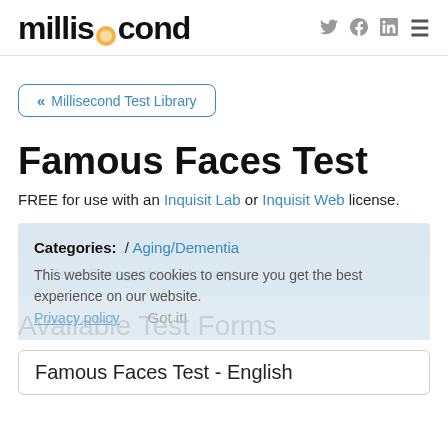millisecond
« Millisecond Test Library
Famous Faces Test
FREE for use with an Inquisit Lab or Inquisit Web license.
Categories: / Aging/Dementia / Face Recognition / Memory
This website uses cookies to ensure you get the best experience on our website. Privacy policy Got it!
Available Test Forms
Famous Faces Test - English